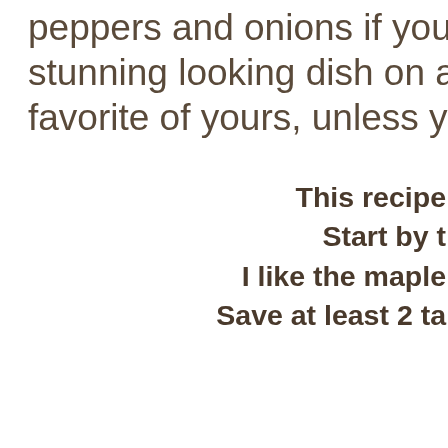peppers and onions if you so desire. It is a stunning looking dish on a plate, and is a favorite of yours, unless you don't care
This recipe
Start by t
I like the maple
Save at least 2 ta
[Figure (photo): Photo of bacon strips cooking on a dark grill pan, with a blue background visible at top]